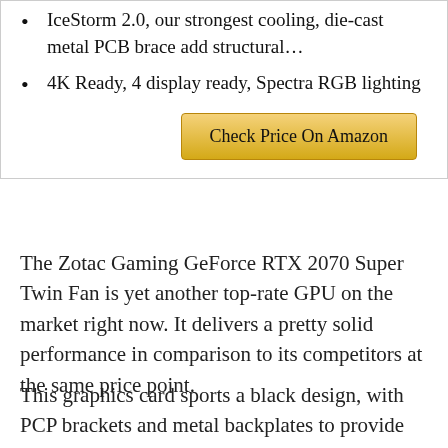IceStorm 2.0, our strongest cooling, die-cast metal PCB brace add structural…
4K Ready, 4 display ready, Spectra RGB lighting
Check Price On Amazon
The Zotac Gaming GeForce RTX 2070 Super Twin Fan is yet another top-rate GPU on the market right now. It delivers a pretty solid performance in comparison to its competitors at the same price point.
This graphics card sports a black design, with PCP brackets and metal backplates to provide sufficient and sturdy support. It features the most recent IceStorm 2.0…